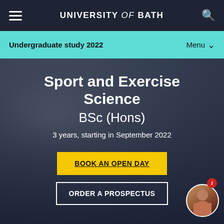UNIVERSITY of BATH
Undergraduate study 2022
[Figure (photo): Blurred background photo of people exercising/in a gym or sports setting, with dark overlay]
Sport and Exercise Science BSc (Hons)
3 years, starting in September 2022
BOOK AN OPEN DAY
ORDER A PROSPECTUS